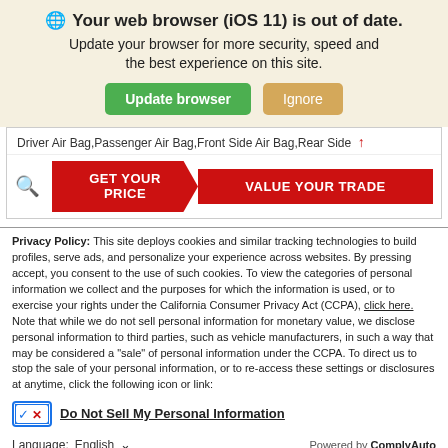[Figure (screenshot): Browser update notification banner with globe icon, bold title 'Your web browser (iOS 11) is out of date.', subtitle text, and two buttons: green 'Update browser' and tan 'Ignore']
Driver Air Bag,Passenger Air Bag,Front Side Air Bag,Rear Side
[Figure (screenshot): Car dealership UI snippet with search icon, red 'GET YOUR PRICE' button with arrow shape, and red 'VALUE YOUR TRADE' button]
Privacy Policy: This site deploys cookies and similar tracking technologies to build profiles, serve ads, and personalize your experience across websites. By pressing accept, you consent to the use of such cookies. To view the categories of personal information we collect and the purposes for which the information is used, or to exercise your rights under the California Consumer Privacy Act (CCPA), click here. Note that while we do not sell personal information for monetary value, we disclose personal information to third parties, such as vehicle manufacturers, in such a way that may be considered a "sale" of personal information under the CCPA. To direct us to stop the sale of your personal information, or to re-access these settings or disclosures at anytime, click the following icon or link:
Do Not Sell My Personal Information
Language: English   Powered by ComplyAuto
Accept and Continue →   California Privacy Disclosures   ×